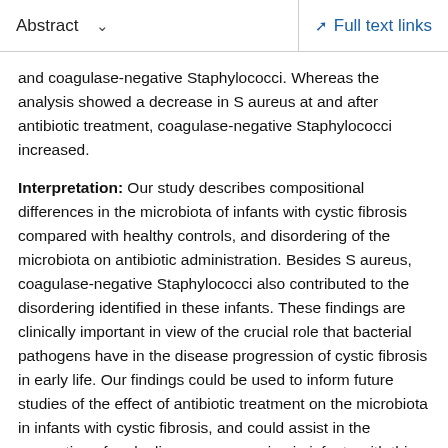Abstract   ∨   Full text links
and coagulase-negative Staphylococci. Whereas the analysis showed a decrease in S aureus at and after antibiotic treatment, coagulase-negative Staphylococci increased.
Interpretation: Our study describes compositional differences in the microbiota of infants with cystic fibrosis compared with healthy controls, and disordering of the microbiota on antibiotic administration. Besides S aureus, coagulase-negative Staphylococci also contributed to the disordering identified in these infants. These findings are clinically important in view of the crucial role that bacterial pathogens have in the disease progression of cystic fibrosis in early life. Our findings could be used to inform future studies of the effect of antibiotic treatment on the microbiota in infants with cystic fibrosis, and could assist in the prevention of early disease progression in infants with this disease.